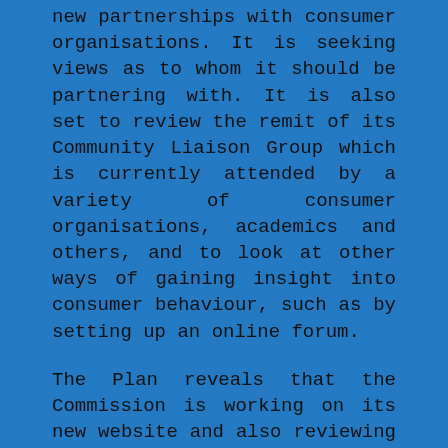new partnerships with consumer organisations. It is seeking views as to whom it should be partnering with. It is also set to review the remit of its Community Liaison Group which is currently attended by a variety of consumer organisations, academics and others, and to look at other ways of gaining insight into consumer behaviour, such as by setting up an online forum.
The Plan reveals that the Commission is working on its new website and also reviewing its social media strategy to improve the way in which it provides information to, and gathers feedback from, consumers. It will be interesting to see what the outcome of these projects is and how the Plan evolves over time.
In the meantime the Commission has already put the “partnerships” theme of the Plan into action this month, by backing an investigation launched by the Competition